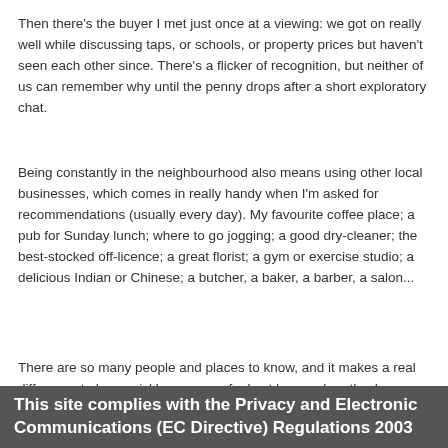Then there's the buyer I met just once at a viewing: we got on really well while discussing taps, or schools, or property prices but haven't seen each other since. There's a flicker of recognition, but neither of us can remember why until the penny drops after a short exploratory chat.
Being constantly in the neighbourhood also means using other local businesses, which comes in really handy when I'm asked for recommendations (usually every day). My favourite coffee place; a pub for Sunday lunch; where to go jogging; a good dry-cleaner; the best-stocked off-licence; a great florist; a gym or exercise studio; a delicious Indian or Chinese; a butcher, a baker, a barber, a salon...
There are so many people and places to know, and it makes a real difference to how quickly someone feels at home when they've already got some tips from a local
This site complies with the Privacy and Electronic Communications (EC Directive) Regulations 2003